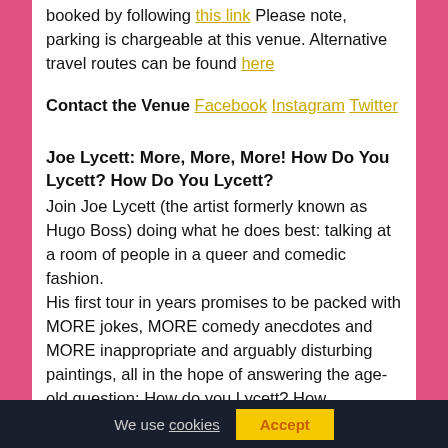booked by following this link Please note, parking is chargeable at this venue. Alternative travel routes can be found here
Contact the Venue Facebook Instagram Twitter
Joe Lycett: More, More, More! How Do You Lycett? How Do You Lycett?
Join Joe Lycett (the artist formerly known as Hugo Boss) doing what he does best: talking at a room of people in a queer and comedic fashion. His first tour in years promises to be packed with MORE jokes, MORE comedy anecdotes and MORE inappropriate and arguably disturbing paintings, all in the hope of answering the age-old question: How do you Lycett? How
We use cookies Accept